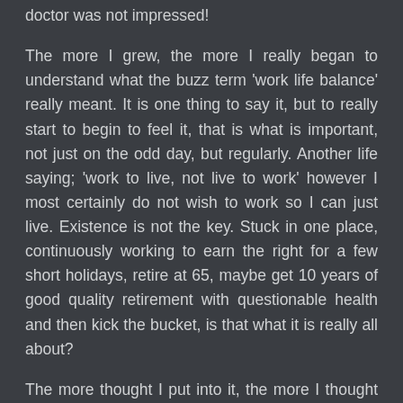doctor was not impressed!
The more I grew, the more I really began to understand what the buzz term 'work life balance' really meant. It is one thing to say it, but to really start to begin to feel it, that is what is important, not just on the odd day, but regularly. Another life saying; 'work to live, not live to work' however I most certainly do not wish to work so I can just live. Existence is not the key. Stuck in one place, continuously working to earn the right for a few short holidays, retire at 65, maybe get 10 years of good quality retirement with questionable health and then kick the bucket, is that what it is really all about?
The more thought I put into it, the more I thought about where next. Stay with the same company, push for another promotion, change companies, same industry, different industry, same old story, go back to the UK, settle down and put up with a country split in two over the